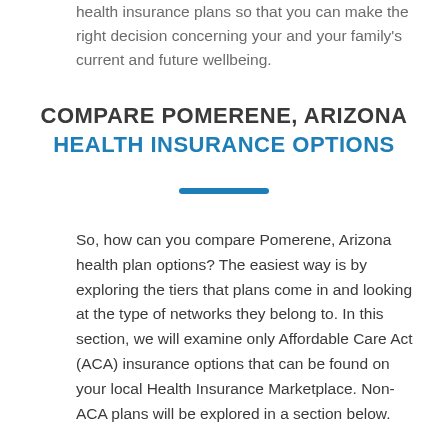health insurance plans so that you can make the right decision concerning your and your family's current and future wellbeing.
COMPARE POMERENE, ARIZONA HEALTH INSURANCE OPTIONS
So, how can you compare Pomerene, Arizona health plan options? The easiest way is by exploring the tiers that plans come in and looking at the type of networks they belong to. In this section, we will examine only Affordable Care Act (ACA) insurance options that can be found on your local Health Insurance Marketplace. Non-ACA plans will be explored in a section below.